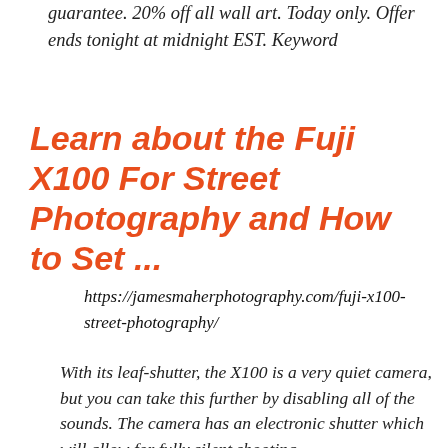guarantee. 20% off all wall art. Today only. Offer ends tonight at midnight EST. Keyword
Learn about the Fuji X100 For Street Photography and How to Set ...
https://jamesmaherphotography.com/fuji-x100-street-photography/
With its leaf-shutter, the X100 is a very quiet camera, but you can take this further by disabling all of the sounds. The camera has an electronic shutter which will allow for fully silent shooting,